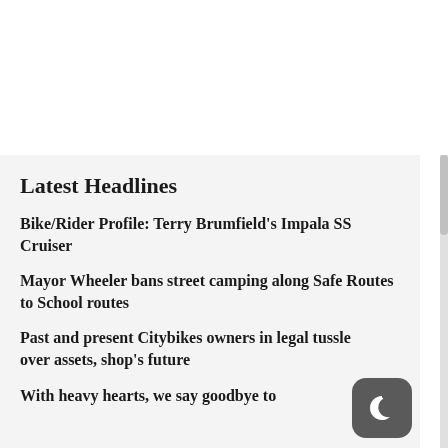Latest Headlines
Bike/Rider Profile: Terry Brumfield's Impala SS Cruiser
Mayor Wheeler bans street camping along Safe Routes to School routes
Past and present Citybikes owners in legal tussle over assets, shop's future
With heavy hearts, we say goodbye to